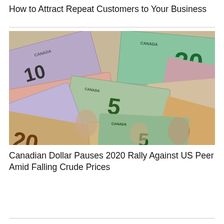How to Attract Repeat Customers to Your Business
[Figure (photo): A spread of Canadian dollar banknotes of various denominations including 5, 10, 20, 50, and 100 dollar bills fanned out in a pile.]
Canadian Dollar Pauses 2020 Rally Against US Peer Amid Falling Crude Prices